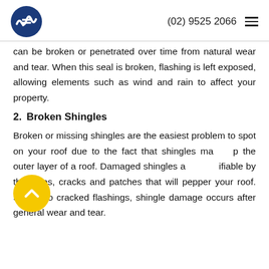(02) 9525 2066
can be broken or penetrated over time from natural wear and tear. When this seal is broken, flashing is left exposed, allowing elements such as wind and rain to affect your property.
2. Broken Shingles
Broken or missing shingles are the easiest problem to spot on your roof due to the fact that shingles make up the outer layer of a roof. Damaged shingles are identifiable by the holes, cracks and patches that will pepper your roof. Similar to cracked flashings, shingle damage occurs after general wear and tear.